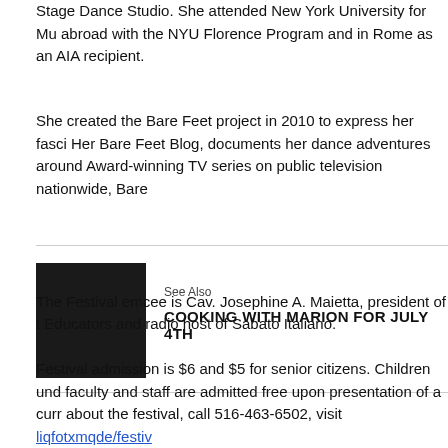Stage Dance Studio. She attended New York University for Mu abroad with the NYU Florence Program and in Rome as an AIA recipient.
She created the Bare Feet project in 2010 to express her fasci Her Bare Feet Blog, documents her dance adventures around Award-winning TV series on public television nationwide, Bare
[Figure (photo): Dark/black square image thumbnail for See Also section]
See Also
COOKING WITH MARION FOR JULY 4TH
The Festival emcee is Cav. Josephine A. Maietta, president of t Educators and radio host of Sabato Italiano.
Festival admission is $6 and $5 for senior citizens. Children und faculty and staff are admitted free upon presentation of a curr about the festival, call 516-463-6502, visit liqfotxmqde/festiv